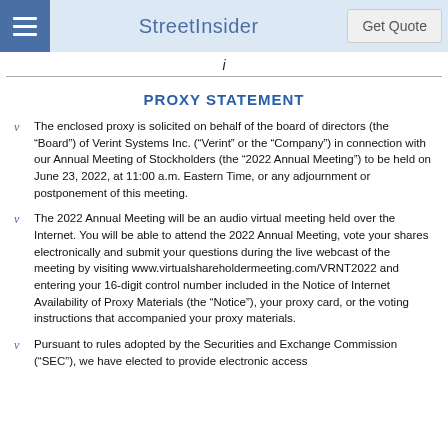StreetInsider   Get Quote
i
PROXY STATEMENT
The enclosed proxy is solicited on behalf of the board of directors (the “Board”) of Verint Systems Inc. (“Verint” or the “Company”) in connection with our Annual Meeting of Stockholders (the “2022 Annual Meeting”) to be held on June 23, 2022, at 11:00 a.m. Eastern Time, or any adjournment or postponement of this meeting.
The 2022 Annual Meeting will be an audio virtual meeting held over the Internet. You will be able to attend the 2022 Annual Meeting, vote your shares electronically and submit your questions during the live webcast of the meeting by visiting www.virtualshareholdermeeting.com/VRNT2022 and entering your 16-digit control number included in the Notice of Internet Availability of Proxy Materials (the “Notice”), your proxy card, or the voting instructions that accompanied your proxy materials.
Pursuant to rules adopted by the Securities and Exchange Commission (“SEC”), we have elected to provide electronic access